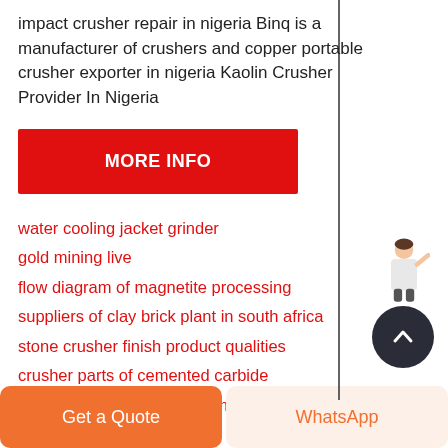impact crusher repair in nigeria Binq is a manufacturer of crushers and copper portable crusher exporter in nigeria Kaolin Crusher Provider In Nigeria
[Figure (other): Red button labeled MORE INFO]
water cooling jacket grinder
gold mining live
flow diagram of magnetite processing
suppliers of clay brick plant in south africa
stone crusher finish product qualities
crusher parts of cemented carbide
dolomite crushing process machine in angola
bamntukra ball mill
[Figure (illustration): Person figure with Free chat button widget on the right side]
[Figure (other): Dark circular scroll-to-top button with upward chevron]
Get a Quote
WhatsApp